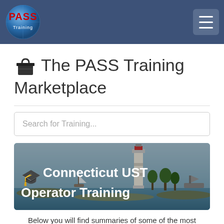PASS Training
🛍 The PASS Training Marketplace
[Figure (screenshot): Connecticut lighthouse coastal scene with text overlay reading 'Connecticut UST Operator Training' and a graduation cap icon]
Below you will find summaries of some of the most pertinent topics regarding Connecticut UST Operator